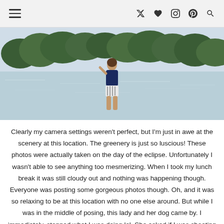☰  𝕏  ♥  📷  𝕡  🔍
[Figure (photo): Person standing near a lake with lush green trees in the background, viewed from behind, wearing navy top and patterned shorts]
Clearly my camera settings weren't perfect, but I'm just in awe at the scenery at this location. The greenery is just so luscious! These photos were actually taken on the day of the eclipse. Unfortunately I wasn't able to see anything too mesmerizing. When I took my lunch break it was still cloudy out and nothing was happening though. Everyone was posting some gorgeous photos though. Oh, and it was so relaxing to be at this location with no one else around. But while I was in the middle of posing, this lady and her dog came by. I immediately, stopped what I was doing lol. She asked if I was shooting senior pictures. I immediately